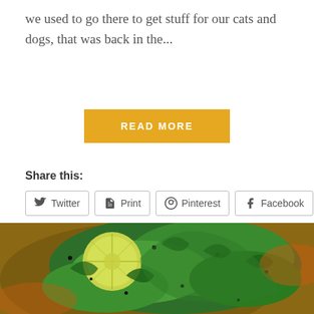we used to go there to get stuff for our cats and dogs, that was back in the...
READ MORE
Share this:
Twitter
Print
Pinterest
Facebook
Like this:
2 bloggers like this.
[Figure (photo): Close-up photo of a food dish with green herbs, cilantro, sliced lime or lemon, and black sesame seeds in a bowl]